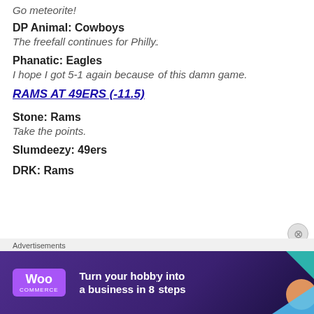Go meteorite!
DP Animal: Cowboys
The freefall continues for Philly.
Phanatic: Eagles
I hope I got 5-1 again because of this damn game.
RAMS AT 49ERS (-11.5)
Stone: Rams
Take the points.
Slumdeezy: 49ers
DRK: Rams
[Figure (infographic): WooCommerce advertisement banner: 'Turn your hobby into a business in 8 steps']